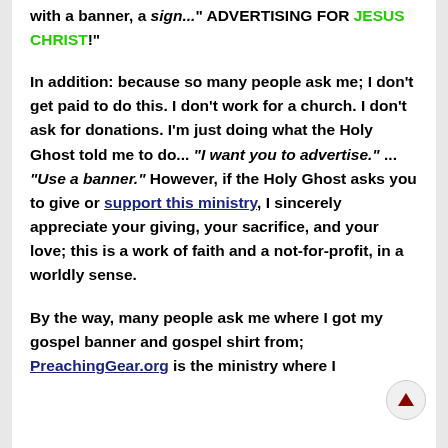with a banner, a sign... ADVERTISING FOR JESUS CHRIST!"
In addition: because so many people ask me; I don't get paid to do this. I don't work for a church. I don't ask for donations. I'm just doing what the Holy Ghost told me to do... "I want you to advertise." ... "Use a banner." However, if the Holy Ghost asks you to give or support this ministry, I sincerely appreciate your giving, your sacrifice, and your love; this is a work of faith and a not-for-profit, in a worldly sense.
By the way, many people ask me where I got my gospel banner and gospel shirt from; PreachingGear.org is the ministry where I